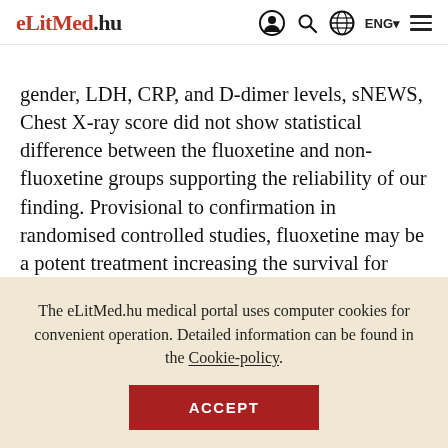eLitMed.hu | ENG
gender, LDH, CRP, and D-dimer levels, sNEWS, Chest X-ray score did not show statistical difference between the fluoxetine and non-fluoxetine groups supporting the reliability of our finding. Provisional to confirmation in randomised controlled studies, fluoxetine may be a potent treatment increasing the survival for COVID-19 pneumonia.
The eLitMed.hu medical portal uses computer cookies for convenient operation. Detailed information can be found in the Cookie-policy.
ACCEPT